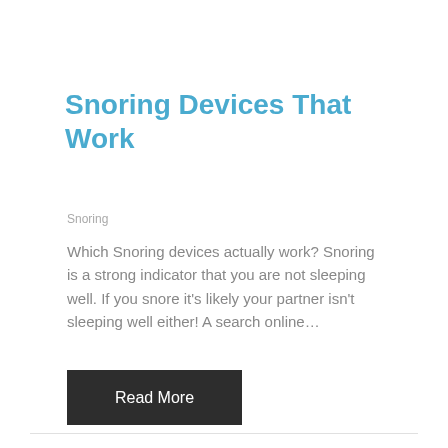Snoring Devices That Work
Snoring
Which Snoring devices actually work? Snoring is a strong indicator that you are not sleeping well. If you snore it’s likely your partner isn’t sleeping well either! A search online…
Read More